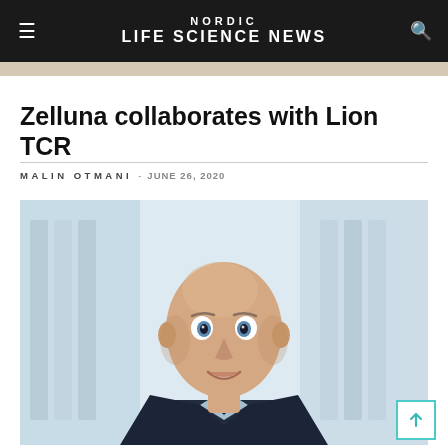NORDIC LIFE SCIENCE NEWS
Zelluna collaborates with Lion TCR
MALIN OTMANI - JUNE 26, 2020
[Figure (photo): Portrait photo of a bald smiling man in a suit, photographed in a bright office or laboratory environment.]